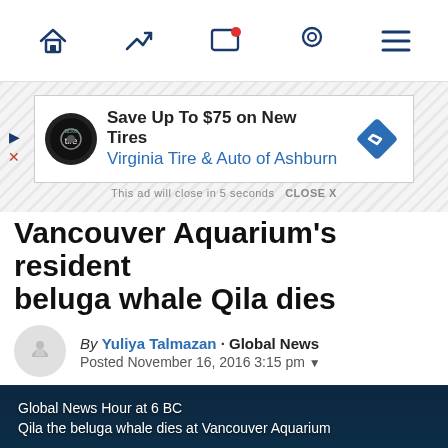Navigation bar with home, trending, notifications, location, and menu icons
[Figure (screenshot): Advertisement banner: Save Up To $75 on New Tires - Virginia Tire & Auto of Ashburn. This ad will close in 5 seconds CLOSE X]
Vancouver Aquarium's resident beluga whale Qila dies
By Yuliya Talmazan · Global News
Posted November 16, 2016 3:15 pm
[Figure (screenshot): Video thumbnail showing beluga whale underwater with dark silhouette. Caption reads: Global News Hour at 6 BC / Qila the beluga whale dies at Vancouver Aquarium. Play button visible in center.]